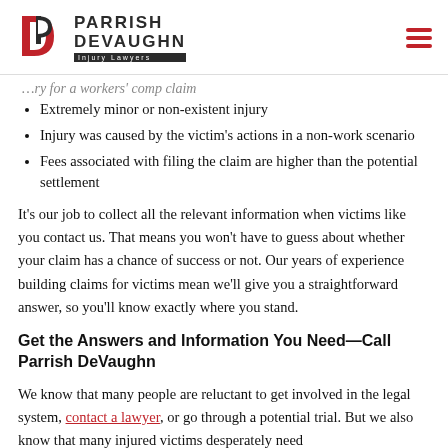Parrish DeVaughn Injury Lawyers
Extremely minor or non-existent injury
Injury was caused by the victim's actions in a non-work scenario
Fees associated with filing the claim are higher than the potential settlement
It's our job to collect all the relevant information when victims like you contact us. That means you won't have to guess about whether your claim has a chance of success or not. Our years of experience building claims for victims mean we'll give you a straightforward answer, so you'll know exactly where you stand.
Get the Answers and Information You Need—Call Parrish DeVaughn
We know that many people are reluctant to get involved in the legal system, contact a lawyer, or go through a potential trial. But we also know that many injured victims desperately need